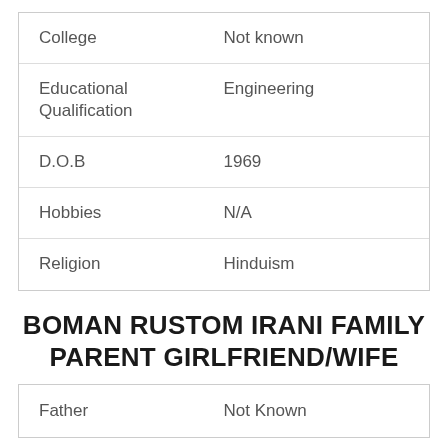| College | Not known |
| Educational
Qualification | Engineering |
| D.O.B | 1969 |
| Hobbies | N/A |
| Religion | Hinduism |
BOMAN RUSTOM IRANI FAMILY PARENT GIRLFRIEND/WIFE
| Father | Not Known |